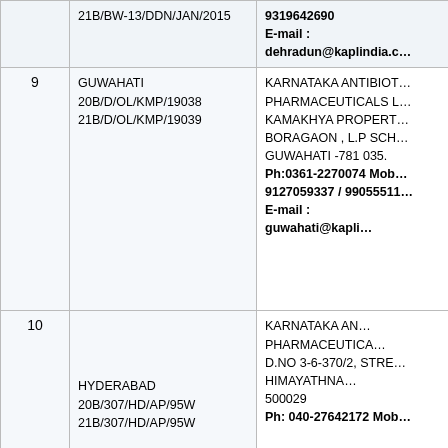| No. | License / Location | Address / Contact |
| --- | --- | --- |
|  | 21B/BW-13/DDN/JAN/2015 | 9319642690
E-mail :
dehradun@kaplindia.c… |
| 9 | GUWAHATI
20B/D/OL/KMP/19038
21B/D/OL/KMP/19039 | KARNATAKA ANTIBIOT…
PHARMACEUTICALS L…
KAMAKHYA PROPERT…
BORAGAON , L.P SCH…
GUWAHATI -781 035.
Ph:0361-2270074 Mob…
9127059337 / 99055511…
E-mail :
guwahati@kapli… |
| 10 | HYDERABAD
20B/307/HD/AP/95W
21B/307/HD/AP/95W | KARNATAKA AN…
PHARMACEUTICA…
D.NO 3-6-370/2, STRE…
HIMAYATHNA…
500029
Ph: 040-27642172 Mob… |